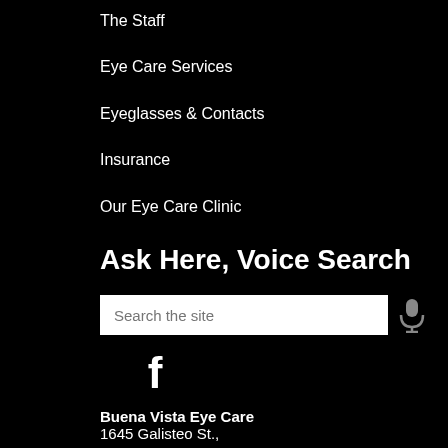The Staff
Eye Care Services
Eyeglasses & Contacts
Insurance
Our Eye Care Clinic
Ask Here, Voice Search
[Figure (screenshot): Search input field with placeholder text 'Search the site' and a microphone icon for voice search]
[Figure (logo): Facebook logo icon (f)]
Buena Vista Eye Care
1645 Galisteo St.,